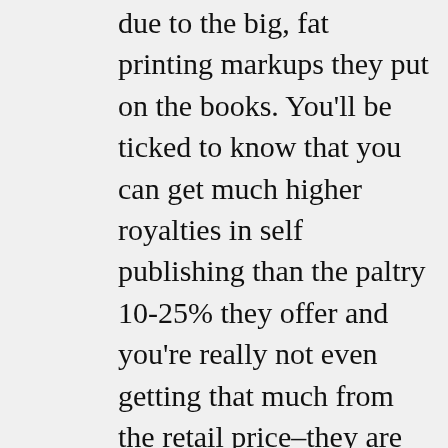due to the big, fat printing markups they put on the books. You'll be ticked to know that you can get much higher royalties in self publishing than the paltry 10-25% they offer and you're really not even getting that much from the retail price–they are making many times the amount you are. You can get anywhere from 65-100% of the net depending on retailer and publishing platform. You can even get wholesale printing costs. You can even do better on your own or with other